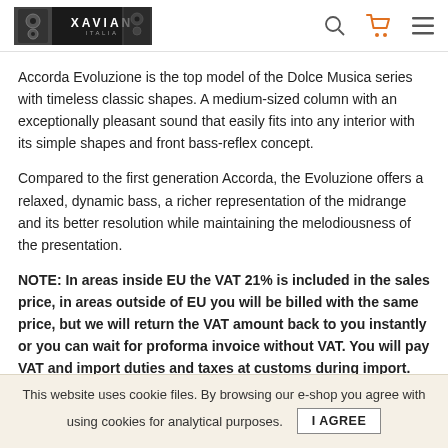XAVIAN [logo with search, cart, and menu icons]
Accorda Evoluzione is the top model of the Dolce Musica series with timeless classic shapes. A medium-sized column with an exceptionally pleasant sound that easily fits into any interior with its simple shapes and front bass-reflex concept.
Compared to the first generation Accorda, the Evoluzione offers a relaxed, dynamic bass, a richer representation of the midrange and its better resolution while maintaining the melodiousness of the presentation.
NOTE: In areas inside EU the VAT 21% is included in the sales price, in areas outside of EU you will be billed with the same price, but we will return the VAT amount back to you instantly or you can wait for proforma invoice without VAT. You will pay VAT and import duties and taxes at customs during import.
This website uses cookie files. By browsing our e-shop you agree with using cookies for analytical purposes. I AGREE